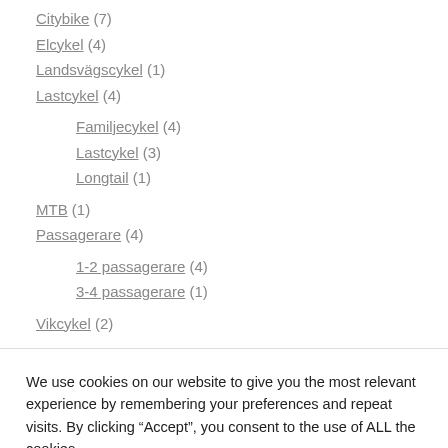Citybike (7)
Elcykel (4)
Landsvägscykel (1)
Lastcykel (4)
Familjecykel (4)
Lastcykel (3)
Longtail (1)
MTB (1)
Passagerare (4)
1-2 passagerare (4)
3-4 passagerare (1)
Vikcykel (2)
We use cookies on our website to give you the most relevant experience by remembering your preferences and repeat visits. By clicking “Accept”, you consent to the use of ALL the cookies.
Cookie settings | ACCEPT